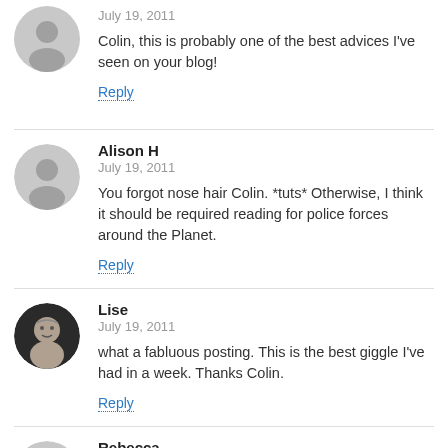July 19, 2011
Colin, this is probably one of the best advices I've seen on your blog!
Reply
Alison H
July 19, 2011
You forgot nose hair Colin. *tuts* Otherwise, I think it should be required reading for police forces around the Planet.
Reply
Lise
July 19, 2011
what a fabluous posting. This is the best giggle I've had in a week. Thanks Colin.
Reply
Rebecca